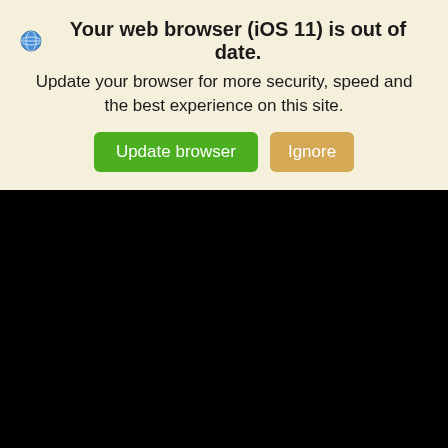🌐 Your web browser (iOS 11) is out of date. Update your browser for more security, speed and the best experience on this site. [Update browser] [Ignore]
[Figure (screenshot): Black screen area below the browser update banner, representing a blank/unloaded webpage content area.]